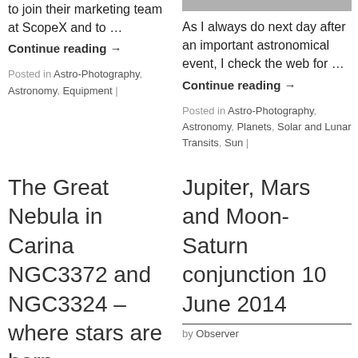to join their marketing team at ScopeX and to …
Continue reading →
Posted in Astro-Photography, Astronomy, Equipment |
[Figure (other): Gray banner/bar image placeholder at top of right column]
As I always do next day after an important astronomical event, I check the web for …
Continue reading →
Posted in Astro-Photography, Astronomy, Planets, Solar and Lunar Transits, Sun |
The Great Nebula in Carina NGC3372 and NGC3324 – where stars are born
Jupiter, Mars and Moon-Saturn conjunction 10 June 2014
by Observer